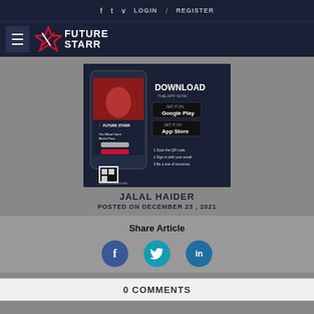f  t  v  LOGIN  /  REGISTER
[Figure (logo): FutureStarr logo with star icon and hamburger menu]
[Figure (screenshot): FutureStarr app advertisement showing app download options for Google Play and App Store with QR code]
JALAL HAIDER
POSTED ON DECEMBER 23 , 2021
Share Article
[Figure (infographic): Social share icons: Facebook (f), Twitter (t), LinkedIn (in)]
0 COMMENTS